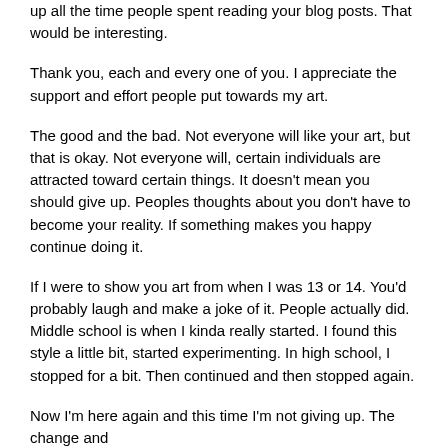up all the time people spent reading your blog posts. That would be interesting.
Thank you, each and every one of you. I appreciate the support and effort people put towards my art.
The good and the bad. Not everyone will like your art, but that is okay. Not everyone will, certain individuals are attracted toward certain things. It doesn't mean you should give up. Peoples thoughts about you don't have to become your reality. If something makes you happy continue doing it.
If I were to show you art from when I was 13 or 14. You'd probably laugh and make a joke of it. People actually did. Middle school is when I kinda really started. I found this style a little bit, started experimenting. In high school, I stopped for a bit. Then continued and then stopped again.
Now I'm here again and this time I'm not giving up. The change and